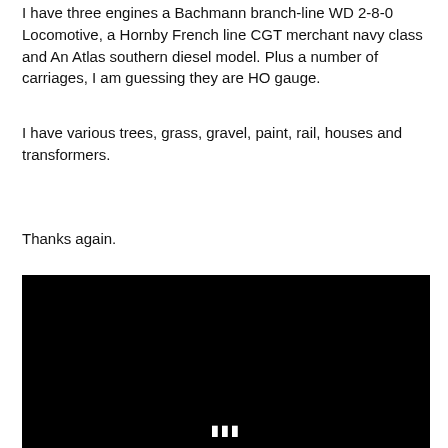I have three engines a Bachmann branch-line WD 2-8-0 Locomotive, a Hornby French line CGT merchant navy class and An Atlas southern diesel model. Plus a number of carriages, I am guessing they are HO gauge.
I have various trees, grass, gravel, paint, rail, houses and transformers.
Thanks again.
[Figure (other): Black rectangle representing a video player or embedded media with a small ellipsis (pause/menu) icon at the bottom center.]